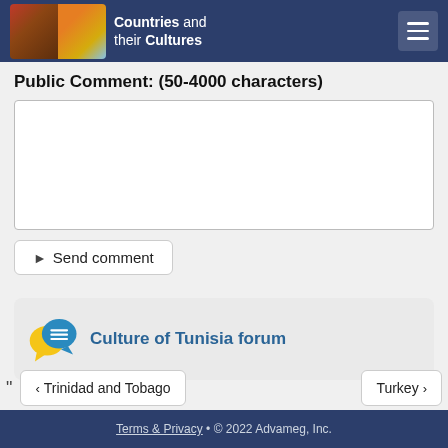Countries and their Cultures
Public Comment: (50-4000 characters)
[text area input field]
Send comment
Culture of Tunisia forum
< Trinidad and Tobago
Turkey >
Terms & Privacy • © 2022 Advameg, Inc.